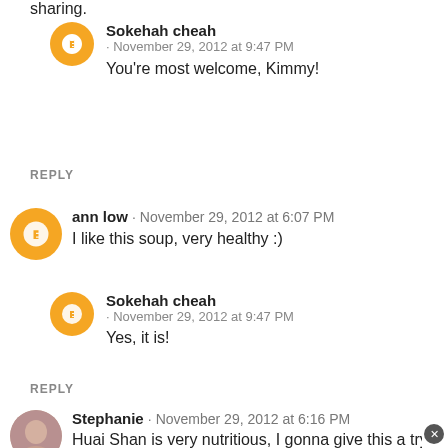sharing.
Sokehah cheah · November 29, 2012 at 9:47 PM
You're most welcome, Kimmy!
REPLY
ann low · November 29, 2012 at 6:07 PM
I like this soup, very healthy :)
Sokehah cheah · November 29, 2012 at 9:47 PM
Yes, it is!
REPLY
Stephanie · November 29, 2012 at 6:16 PM
Huai Shan is very nutritious, I gonna give this a try